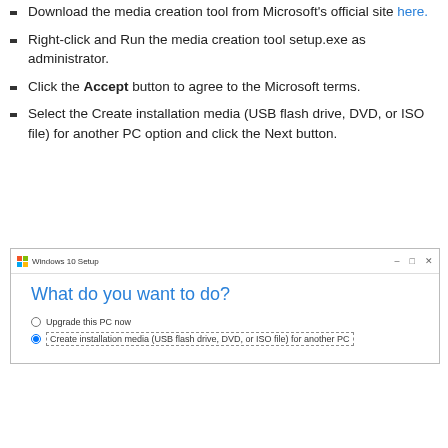Download the media creation tool from Microsoft's official site here.
Right-click and Run the media creation tool setup.exe as administrator.
Click the Accept button to agree to the Microsoft terms.
Select the Create installation media (USB flash drive, DVD, or ISO file) for another PC option and click the Next button.
[Figure (screenshot): Windows 10 Setup dialog showing 'What do you want to do?' with two radio options: 'Upgrade this PC now' and 'Create installation media (USB flash drive, DVD, or ISO file) for another PC' selected.]